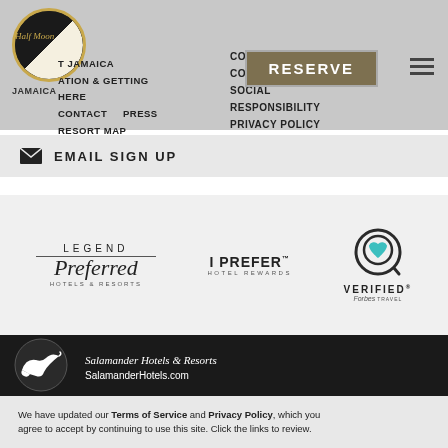Half Moon | JAMAICA | LOCATION & GETTING HERE | CONTACT | PRESS | RESORT MAP | AWARDS | COPYRIGHT & COOKIES | SOCIAL RESPONSIBILITY | PRIVACY POLICY | ADA COMPLIANCE | RESERVE
EMAIL SIGN UP
[Figure (logo): Legend Preferred Hotels & Resorts logo]
[Figure (logo): I Prefer Hotel Rewards logo]
[Figure (logo): Verified by Forbes Travel Guide logo with teal heart in Q-shaped circle]
[Figure (logo): Salamander Hotels & Resorts logo — white salamander on dark background]
Salamander Hotels & Resorts
SalamanderHotels.com
We have updated our Terms of Service and Privacy Policy, which you agree to accept by continuing to use this site. Click the links to review.